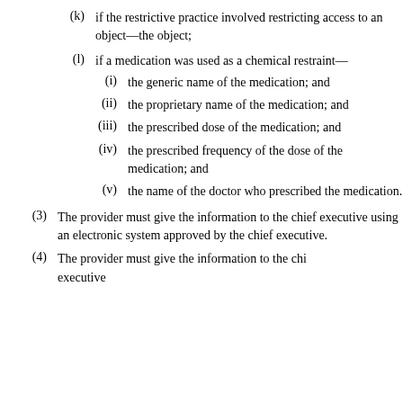(k) if the restrictive practice involved restricting access to an object—the object;
(l) if a medication was used as a chemical restraint—
(i) the generic name of the medication; and
(ii) the proprietary name of the medication; and
(iii) the prescribed dose of the medication; and
(iv) the prescribed frequency of the dose of the medication; and
(v) the name of the doctor who prescribed the medication.
(3) The provider must give the information to the chief executive using an electronic system approved by the chief executive.
(4) The provider must give the information to the chief executive.